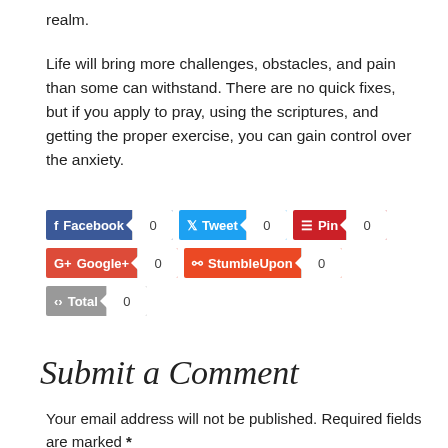realm.
Life will bring more challenges, obstacles, and pain than some can withstand. There are no quick fixes, but if you apply to pray, using the scriptures, and getting the proper exercise, you can gain control over the anxiety.
[Figure (infographic): Social share buttons row 1: Facebook (0), Tweet (0), Pin (0)]
[Figure (infographic): Social share buttons row 2: Google+ (0), StumbleUpon (0)]
[Figure (infographic): Social share buttons row 3: Total (0)]
Submit a Comment
Your email address will not be published. Required fields are marked *